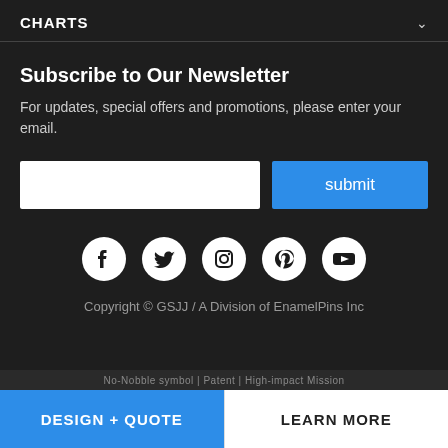CHARTS
Subscribe to Our Newsletter
For updates, special offers and promotions, please enter your email.
[Figure (other): Email input field and submit button]
[Figure (other): Social media icons row: Facebook, Twitter, Instagram, Pinterest, YouTube]
Copyright © GSJJ / A Division of EnamelPins Inc
DESIGN + QUOTE | LEARN MORE